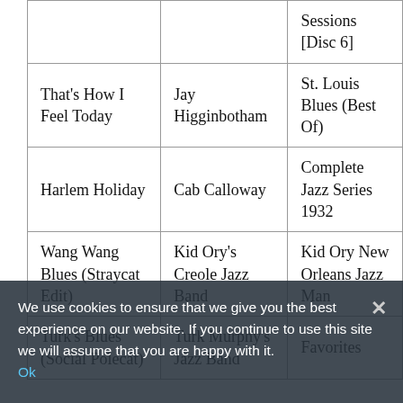| Song | Artist | Album |  |
| --- | --- | --- | --- |
|  |  | Sessions [Disc 6] |  |
| That's How I Feel Today | Jay Higginbotham | St. Louis Blues (Best Of) |  |
| Harlem Holiday | Cab Calloway | Complete Jazz Series 1932 |  |
| Wang Wang Blues (Straycat Edit) | Kid Ory's Creole Jazz Band | Kid Ory New Orleans Jazz Man |  |
| Turk's Blues (Social Polecat) | Turk Murphy's Jazz Band | Favorites |  |
We use cookies to ensure that we give you the best experience on our website. If you continue to use this site we will assume that you are happy with it.